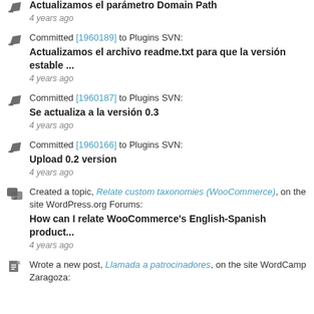Actualizamos el parámetro Domain Path
4 years ago
Committed [1960189] to Plugins SVN:
Actualizamos el archivo readme.txt para que la versión estable ...
4 years ago
Committed [1960187] to Plugins SVN:
Se actualiza a la versión 0.3
4 years ago
Committed [1960166] to Plugins SVN:
Upload 0.2 version
4 years ago
Created a topic, Relate custom taxonomies (WooCommerce), on the site WordPress.org Forums:
How can I relate WooCommerce's English-Spanish product...
4 years ago
Wrote a new post, Llamada a patrocinadores, on the site WordCamp Zaragoza: